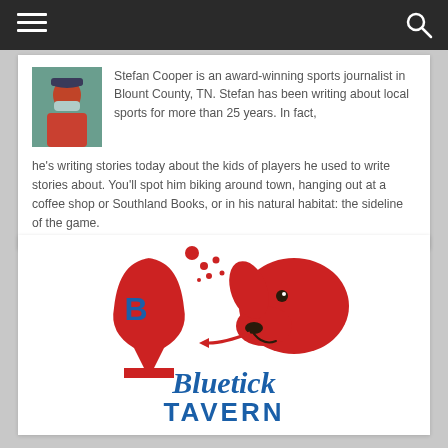Navigation bar with hamburger menu and search icon
[Figure (photo): Profile photo of Stefan Cooper wearing a red shirt and baseball cap with mask]
Stefan Cooper is an award-winning sports journalist in Blount County, TN. Stefan has been writing about local sports for more than 25 years. In fact, he's writing stories today about the kids of players he used to write stories about. You'll spot him biking around town, hanging out at a coffee shop or Southland Books, or in his natural habitat: the sideline of the game.
[Figure (logo): Bluetick Tavern logo featuring a red wine glass with letter B and a red dog head with script text 'Bluetick' and block text 'TAVERN' in blue]